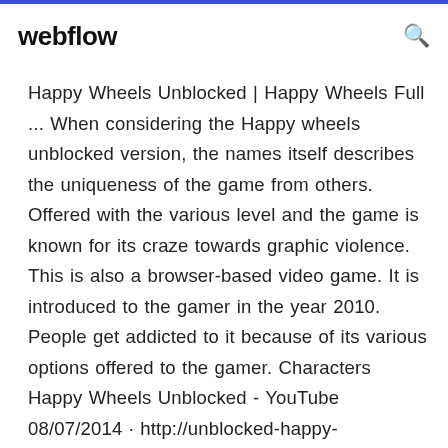webflow
Happy Wheels Unblocked | Happy Wheels Full ... When considering the Happy wheels unblocked version, the names itself describes the uniqueness of the game from others. Offered with the various level and the game is known for its craze towards graphic violence. This is also a browser-based video game. It is introduced to the gamer in the year 2010. People get addicted to it because of its various options offered to the gamer. Characters Happy Wheels Unblocked - YouTube 08/07/2014 · http://unblocked-happy-wheels.com May be you think that the game is for child when you see the graphics for the first But wait man I promise You'll be amaze